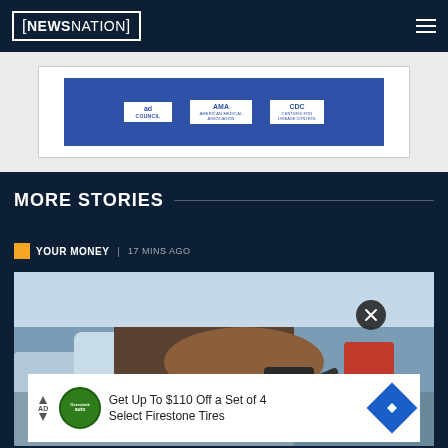NEWSNATION
[Figure (logo): Ad Council, American Medical Association, and another organization logos on a blue background banner]
MORE STORIES
YOUR MONEY | 17 MINS AGO
[Figure (photo): Person's hand pumping gas into a car at a gas station]
Get Up To $110 Off a Set of 4 Select Firestone Tires